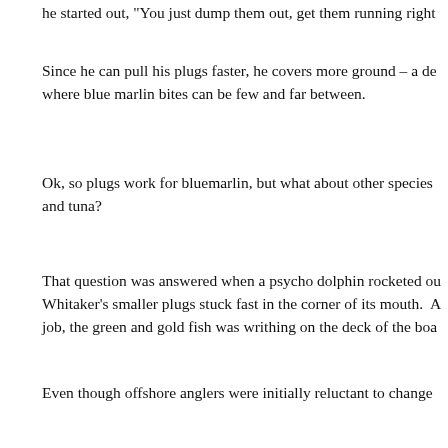he started out, "You just dump them out, get them running right
Since he can pull his plugs faster, he covers more ground – a de where blue marlin bites can be few and far between.
Ok, so plugs work for bluemarlin, but what about other species and tuna?
That question was answered when a psycho dolphin rocketed ou Whitaker's smaller plugs stuck fast in the corner of its mouth. A job, the green and gold fish was writhing on the deck of the boa
Even though offshore anglers were initially reluctant to change . Not only are anglers catching blue marlin, but whites, sails, sp too. While some teams have turned to trolling artificial lures, o natural baits with circle hooks.
Dinks and Circles